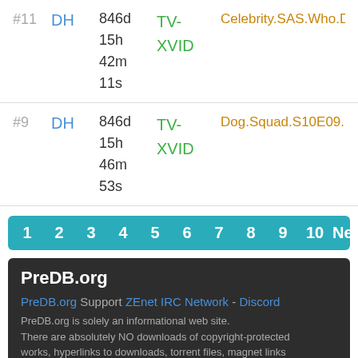| Rank | Type | Age | Format | Title |
| --- | --- | --- | --- | --- |
| #11 | DH | 846d 15h 42m 11s | TV-XVID | Celebrity.SAS.Who.Dares |
| #9 | DH | 846d 15h 46m 53s | TV-XVID | Dog.Squad.S10E09.HDT |
1 2 3 4 5 6 7 8 9 10 Next
PreDB.org
PreDB.org Support ZEnet IRC Network - Discord
PreDB.org is solely an informational web site.
There are absolutely NO downloads of copyright-protected works, hyperlinks to downloads, torrent files, magnet links